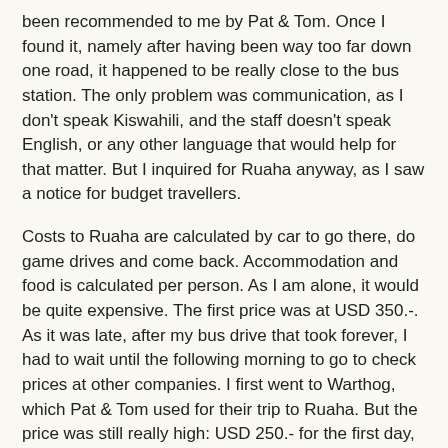been recommended to me by Pat & Tom. Once I found it, namely after having been way too far down one road, it happened to be really close to the bus station. The only problem was communication, as I don't speak Kiswahili, and the staff doesn't speak English, or any other language that would help for that matter. But I inquired for Ruaha anyway, as I saw a notice for budget travellers.
Costs to Ruaha are calculated by car to go there, do game drives and come back. Accommodation and food is calculated per person. As I am alone, it would be quite expensive. The first price was at USD 350.-. As it was late, after my bus drive that took forever, I had to wait until the following morning to go to check prices at other companies. I first went to Warthog, which Pat & Tom used for their trip to Ruaha. But the price was still really high: USD 250.- for the first day, and then USD 150.- for every successive day. That means if you plan to spend a night, the cost for the car is USD 400.-. That is without food and accommodation so far. I walked into Masai Alley, which is famous for its crafts market in Iringa. There I bought some beautiful paintings and told the guy about my problem finding cheap safari. He said he